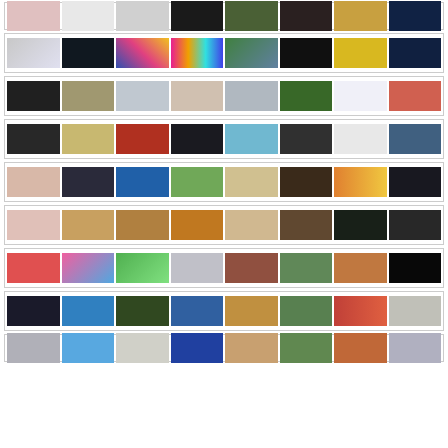[Figure (photo): Grid of thumbnail images, row 1 partial: mixed art/photo thumbnails]
[Figure (photo): Grid of thumbnail images, row 2: 8 art/photo thumbnails with colorful subjects]
[Figure (photo): Grid of thumbnail images, row 3: 8 art/photo thumbnails]
[Figure (photo): Grid of thumbnail images, row 4: 8 art/photo thumbnails]
[Figure (photo): Grid of thumbnail images, row 5: 8 art/photo thumbnails]
[Figure (photo): Grid of thumbnail images, row 6: 8 art/photo thumbnails]
[Figure (photo): Grid of thumbnail images, row 7: 8 art/photo thumbnails]
[Figure (photo): Grid of thumbnail images, row 8: 8 art/photo thumbnails]
[Figure (photo): Grid of thumbnail images, row 9 partial: 2 art/photo thumbnails visible]